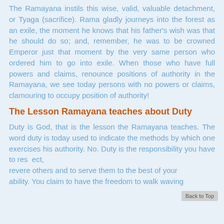The Ramayana instils this wise, valid, valuable detachment, or Tyaga (sacrifice). Rama gladly journeys into the forest as an exile, the moment he knows that his father's wish was that he should do so; and, remember, he was to be crowned Emperor just that moment by the very same person who ordered him to go into exile. When those who have full powers and claims, renounce positions of authority in the Ramayana, we see today persons with no powers or claims, clamouring to occupy position of authority!
The Lesson Ramayana teaches about Duty
Duty is God, that is the lesson the Ramayana teaches. The word duty is today used to indicate the methods by which one exercises his authority. No. Duty is the responsibility you have to respect, revere others and to serve them to the best of your ability. You claim to have the freedom to walk waving...